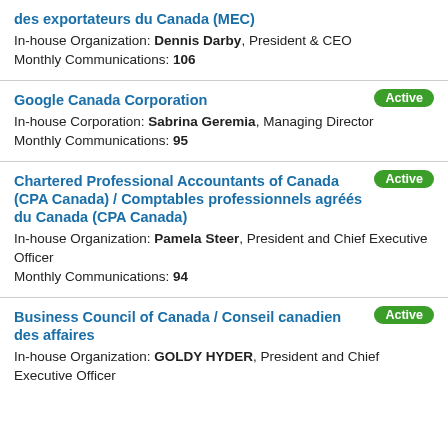des exportateurs du Canada (MEC)
In-house Organization: Dennis Darby, President & CEO
Monthly Communications: 106
Google Canada Corporation [Active]
In-house Corporation: Sabrina Geremia, Managing Director
Monthly Communications: 95
Chartered Professional Accountants of Canada (CPA Canada) / Comptables professionnels agréés du Canada (CPA Canada) [Active]
In-house Organization: Pamela Steer, President and Chief Executive Officer
Monthly Communications: 94
Business Council of Canada / Conseil canadien des affaires [Active]
In-house Organization: GOLDY HYDER, President and Chief Executive Officer